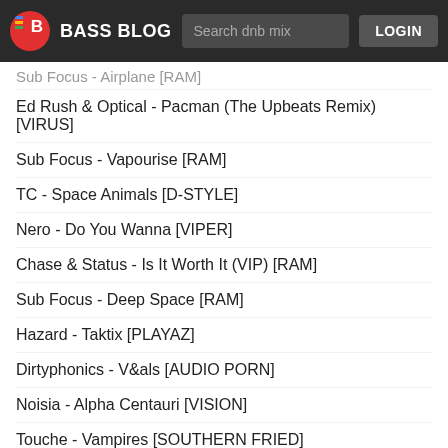BASS BLOG — Search dnb mix — LOGIN
Sub Focus - Airplane [RAM]
Ed Rush & Optical - Pacman (The Upbeats Remix) [VIRUS]
Sub Focus - Vapourise [RAM]
TC - Space Animals [D-STYLE]
Nero - Do You Wanna [VIPER]
Chase & Status - Is It Worth It (VIP) [RAM]
Sub Focus - Deep Space [RAM]
Hazard - Taktix [PLAYAZ]
Dirtyphonics - V&als [AUDIO PORN]
Noisia - Alpha Centauri [VISION]
Touche - Vampires [SOUTHERN FRIED]
TC - Where's My Money (Caspa Remix / Jack Beats Re-Edit) [D-
We use cookies on our website.
Featured | Popular | More | Explore | Now playing